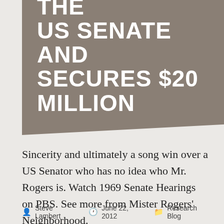FUNDING TO THE US SENATE AND SECURES $20 MILLION
Sincerity and ultimately a song win over a US Senator who has no idea who Mr. Rogers is. Watch 1969 Senate Hearings on PBS. See more from Mister Rogers' Neighborhood.
Steve Lambert   June 22, 2012   Research Blog